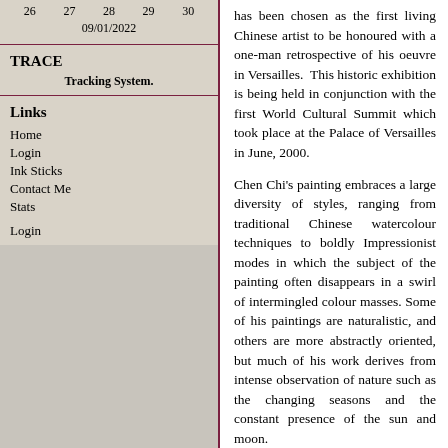26 27 28 29 30
09/01/2022
TRACE
Tracking System.
Links
Home
Login
Ink Sticks
Contact Me
Stats
Login
has been chosen as the first living Chinese artist to be honoured with a one-man retrospective of his oeuvre in Versailles. This historic exhibition is being held in conjunction with the first World Cultural Summit which took place at the Palace of Versailles in June, 2000.
Chen Chi's painting embraces a large diversity of styles, ranging from traditional Chinese watercolour techniques to boldly Impressionist modes in which the subject of the painting often disappears in a swirl of intermingled colour masses. Some of his paintings are naturalistic, and others are more abstractly oriented, but much of his work derives from intense observation of nature such as the changing seasons and the constant presence of the sun and moon.
Chen Chi has received numerous honors, including the